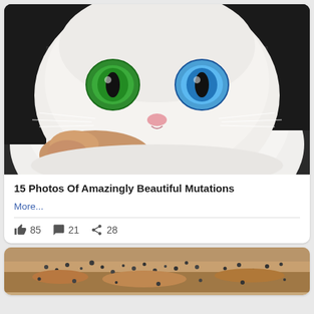[Figure (photo): Close-up photo of a white cat with heterochromia — one green eye and one blue eye — being held by a human hand]
15 Photos Of Amazingly Beautiful Mutations
More...
85  21  28
[Figure (photo): Partial view of a sandy/rocky terrain with small dark pebbles or seeds scattered across it]